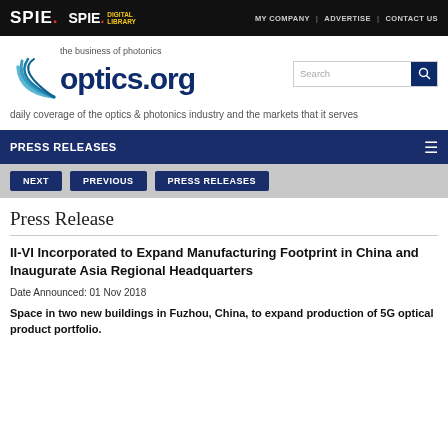SPIE. SPIE. DIGITAL LIBRARY | MY COMPANY | ADVERTISE | CONTACT US
[Figure (logo): optics.org logo with photonics signal arc and text 'the business of photonics optics.org']
daily coverage of the optics & photonics industry and the markets that it serves
PRESS RELEASES
NEXT
PREVIOUS
PRESS RELEASES
Press Release
II-VI Incorporated to Expand Manufacturing Footprint in China and Inaugurate Asia Regional Headquarters
Date Announced: 01 Nov 2018
Space in two new buildings in Fuzhou, China, to expand production of 5G optical product portfolio.